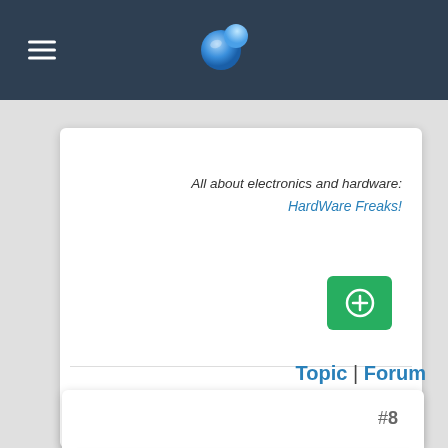Navigation bar with hamburger menu and globe logo
All about electronics and hardware:
HardWare Freaks!
[Figure (other): Green button with plus/upload icon]
Topic | Forum
#8
☰ Re: Recent News block problem
2006/10/1 10:05  saeed